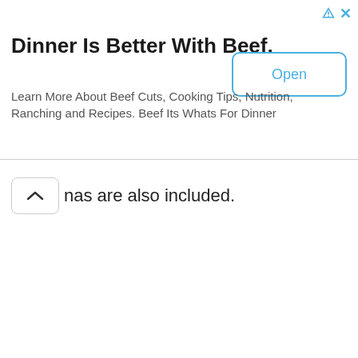[Figure (screenshot): Advertisement banner for Beef. Its Whats For Dinner website with title 'Dinner Is Better With Beef.', body text 'Learn More About Beef Cuts, Cooking Tips, Nutrition, Ranching and Recipes. Beef Its Whats For Dinner', and an Open button. Also has ad icon triangle and X close button in top right corner.]
nas are also included.